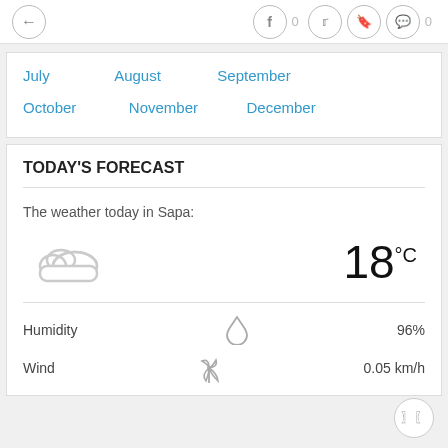← f 0 🐦 0 🔖 💬 0
July   August   September
October   November   December
TODAY'S FORECAST
The weather today in Sapa:
[Figure (illustration): Cloudy weather icon (two overlapping clouds in gray outline)]
18°C
Humidity   96%
Wind   0.05 km/h